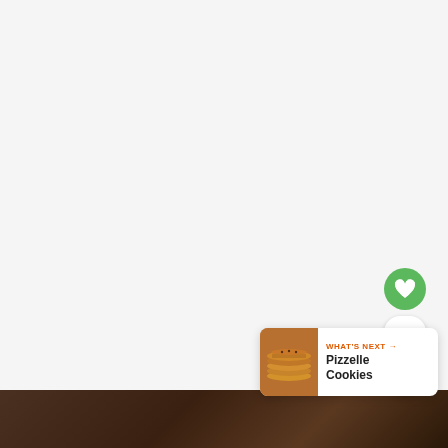[Figure (photo): Large mostly white/blank food photo area (top portion of a recipe page)]
[Figure (photo): Bottom strip showing hands holding food item on dark wooden background]
[Figure (infographic): Heart/save button (green circle with white heart icon), count badge showing 50, share button (white circle with share icon), and 'What's Next' card showing Pizzelle Cookies with thumbnail]
WHAT'S NEXT →
Pizzelle Cookies